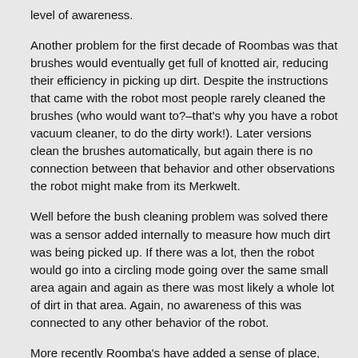level of awareness.
Another problem for the first decade of Roombas was that brushes would eventually get full of knotted air, reducing their efficiency in picking up dirt. Despite the instructions that came with the robot most people rarely cleaned the brushes (who would want to?–that's why you have a robot vacuum cleaner, to do the dirty work!). Later versions clean the brushes automatically, but again there is no connection between that behavior and other observations the robot might make from its Merkwelt.
Well before the bush cleaning problem was solved there was a sensor added internally to measure how much dirt was being picked up. If there was a lot, then the robot would go into a circling mode going over the same small area again and again as there was most likely a whole lot of dirt in that area. Again, no awareness of this was connected to any other behavior of the robot.
More recently Roomba's have added a sense of place, through the use of an upward looking camera. As the robot navigates it remembers visual features, and along with a crude estimate of how far it has travelled (the direction of the nap of a carpet can induce 10% differences in straight line odometry estimate in one direction or the other, and turns are much worse), it recognizes when it is